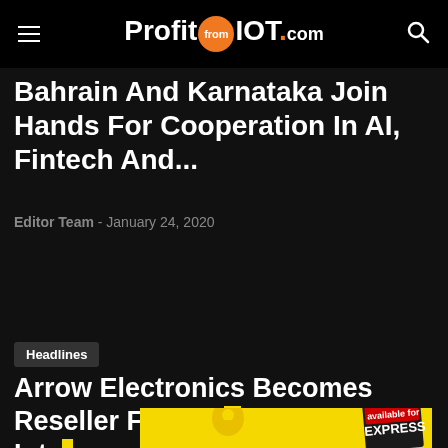ProfitfromIOT.com
Bahrain And Karnataka Join Hands For Cooperation In AI, Fintech And...
Editor Team - January 24, 2020
Headlines
Arrow Electronics Becomes Reseller For Mind... Inte...
[Figure (other): Yellow advertisement banner with location pin icon and Express magazine badge]